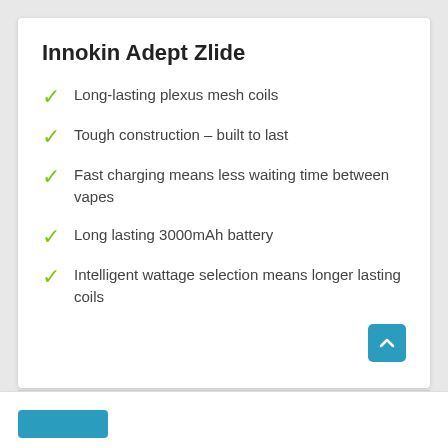Innokin Adept Zlide
Long-lasting plexus mesh coils
Tough construction – built to last
Fast charging means less waiting time between vapes
Long lasting 3000mAh battery
Intelligent wattage selection means longer lasting coils